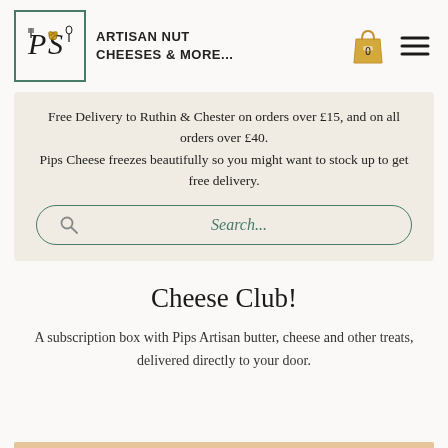[Figure (logo): Pips logo in bordered box with decorative lettering]
ARTISAN NUT CHEESES & MORE...
Free Delivery to Ruthin & Chester on orders over £15, and on all orders over £40.
Pips Cheese freezes beautifully so you might want to stock up to get free delivery.
Search...
Cheese Club!
A subscription box with Pips Artisan butter, cheese and other treats, delivered directly to your door.